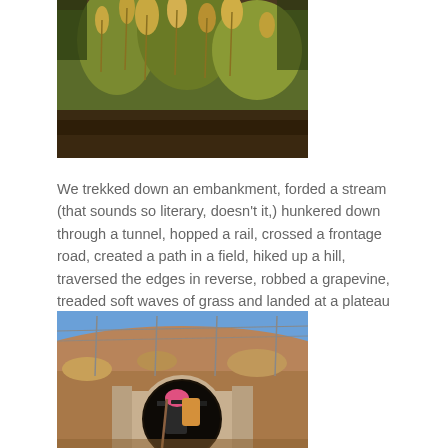[Figure (photo): Close-up photo of tall grass and reeds with golden seed heads against a warm background]
We trekked down an embankment, forded a stream (that sounds so literary, doesn't it,) hunkered down through a tunnel, hopped a rail, crossed a frontage road, created a path in a field, hiked up a hill, traversed the edges in reverse, robbed a grapevine, treaded soft waves of grass and landed at a plateau overlooking a painting of the Camino.
[Figure (photo): Person wearing a pink helmet and backpack standing in front of a large circular tunnel/culvert opening, with dry landscape and blue sky visible in the background]